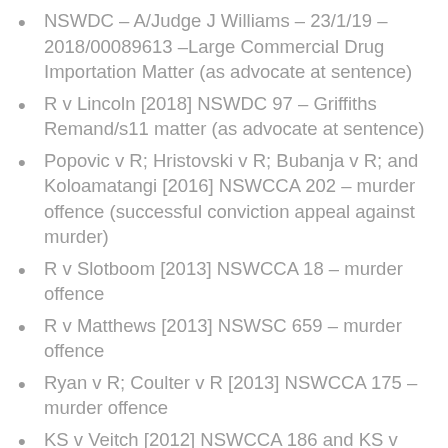NSWDC – A/Judge J Williams – 23/1/19 – 2018/00089613 –Large Commercial Drug Importation Matter (as advocate at sentence)
R v Lincoln [2018] NSWDC 97 – Griffiths Remand/s11 matter (as advocate at sentence)
Popovic v R; Hristovski v R; Bubanja v R; and Koloamatangi [2016] NSWCCA 202 – murder offence (successful conviction appeal against murder)
R v Slotboom [2013] NSWCCA 18 – murder offence
R v Matthews [2013] NSWSC 659 – murder offence
Ryan v R; Coulter v R [2013] NSWCCA 175 – murder offence
KS v Veitch [2012] NSWCCA 186 and KS v Veitch (No 2)[2012] NSWCCA 266